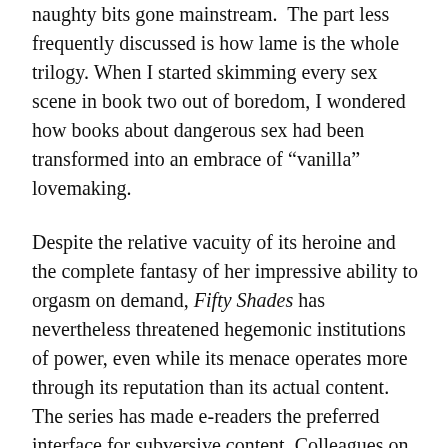naughty bits gone mainstream. The part less frequently discussed is how lame is the whole trilogy. When I started skimming every sex scene in book two out of boredom, I wondered how books about dangerous sex had been transformed into an embrace of “vanilla” lovemaking.
Despite the relative vacuity of its heroine and the complete fantasy of her impressive ability to orgasm on demand, Fifty Shades has nevertheless threatened hegemonic institutions of power, even while its menace operates more through its reputation than its actual content. The series has made e-readers the preferred interface for subversive content. Colleagues on Twitter have referenced “outing” themselves online and in the classroom as readers of the books. Our curator who asked for anonymity did so largely due to anxiety that an embrace of the book series may adversely affect her her tenure case. When scholars engage with popular culture, a fear of destabilizing legitimacy persists despite decades of work by cultural and media studies scholars. In